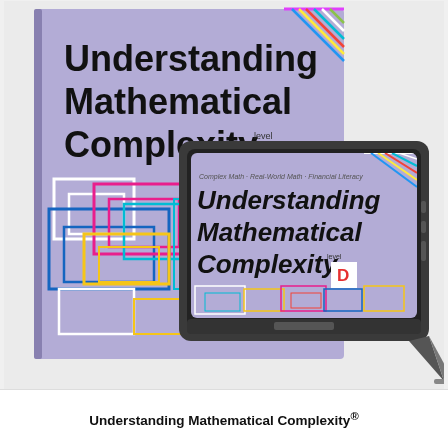[Figure (photo): Product photo showing a physical textbook and a tablet both displaying the cover of 'Understanding Mathematical Complexity Level D'. The book cover has a lavender/purple background with colorful geometric line rectangle patterns in blue, pink, yellow, cyan, and white, plus the title in large bold black text. The tablet shows the same cover design in italic style with 'Complex Math · Real-World Math · Financial Literacy' subtitle.]
Understanding Mathematical Complexity®